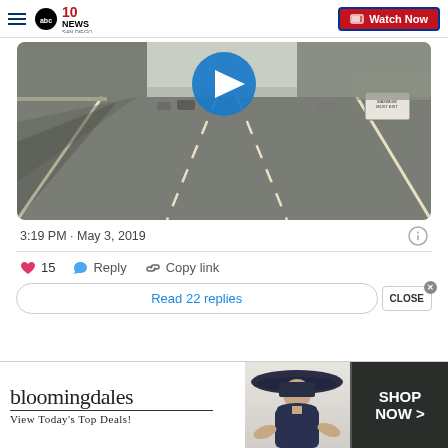abc 10 NEWS SAN DIEGO | Watch Now
[Figure (screenshot): Dashcam or traffic camera video still showing a multi-lane highway road surface from driver perspective, with a blue play button circle overlay at the top center]
3:19 PM · May 3, 2019
♥ 15   Reply   Copy link
Read 22 replies
[Figure (photo): Bloomingdales advertisement banner: bloomingdales logo with 'View Today's Top Deals!' text on the left, woman in wide-brim navy hat in the middle, and 'SHOP NOW >' button on the right]